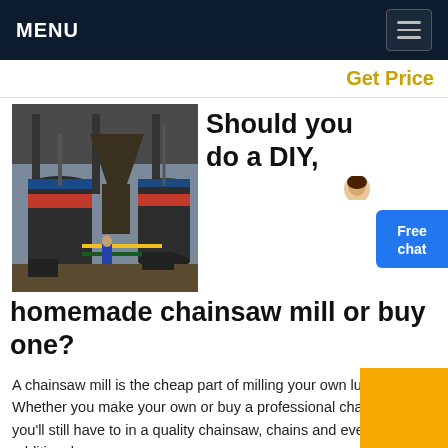MENU
Get Price
[Figure (photo): Industrial chainsaw mill machinery with large cylindrical grinders and metal structures in an industrial facility]
Should you do a DIY, homemade chainsaw mill or buy one?
A chainsaw mill is the cheap part of milling your own lumber. Whether you make your own or buy a professional chainsaw mill, you'll still have to in a quality chainsaw, chains and even an additional